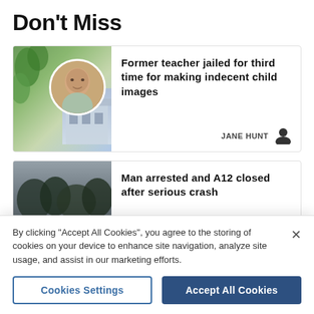Don't Miss
[Figure (photo): News article thumbnail: courthouse building exterior with green foliage overlay and circular portrait inset of an older man]
Former teacher jailed for third time for making indecent child images
JANE HUNT
[Figure (photo): News article thumbnail: road scene with cars, trees and overcast sky suggesting a traffic incident]
Man arrested and A12 closed after serious crash
By clicking "Accept All Cookies", you agree to the storing of cookies on your device to enhance site navigation, analyze site usage, and assist in our marketing efforts.
Cookies Settings
Accept All Cookies